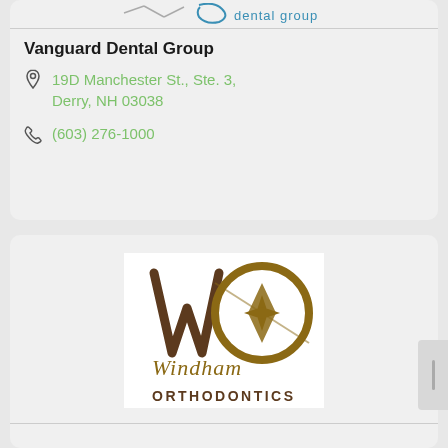[Figure (logo): Partial logo at top of page — dental group logo, partially cropped]
Vanguard Dental Group
19D Manchester St., Ste. 3, Derry, NH 03038
(603) 276-1000
[Figure (logo): Windham Orthodontics logo — brown WO monogram with circular design and serif italic text]